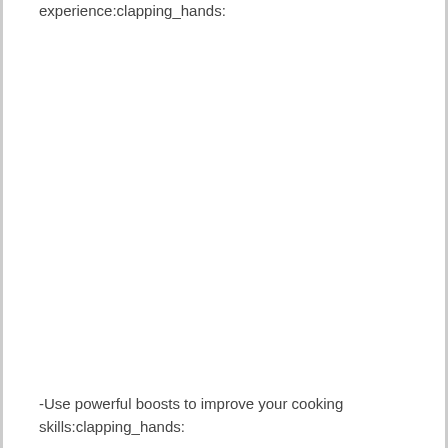Serve your hungry customers for a better experience:clapping_hands:
-Use powerful boosts to improve your cooking skills:clapping_hands: